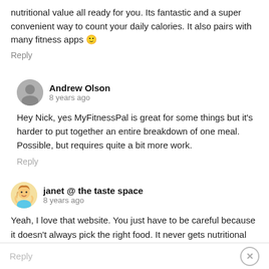nutritional value all ready for you. Its fantastic and a super convenient way to count your daily calories. It also pairs with many fitness apps 🙂
Reply
Andrew Olson
8 years ago
Hey Nick, yes MyFitnessPal is great for some things but it's harder to put together an entire breakdown of one meal. Possible, but requires quite a bit more work.
Reply
janet @ the taste space
8 years ago
Yeah, I love that website. You just have to be careful because it doesn't always pick the right food. It never gets nutritional yeast right. 😉
Reply